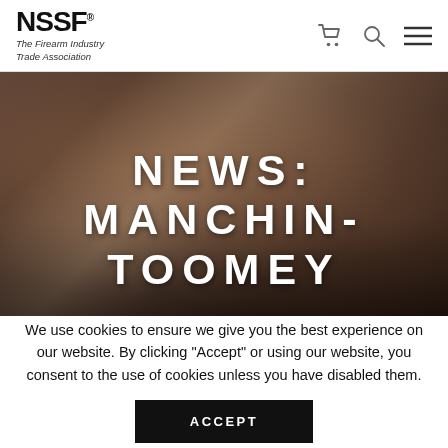NSSF® The Firearm Industry Trade Association
[Figure (photo): Hero banner image showing hands typing on a keyboard, blurred background with warm brownish tones. Large text overlay reads NEWS: MANCHIN-TOOMEY]
NEWS: MANCHIN-TOOMEY
We use cookies to ensure we give you the best experience on our website. By clicking "Accept" or using our website, you consent to the use of cookies unless you have disabled them.
ACCEPT